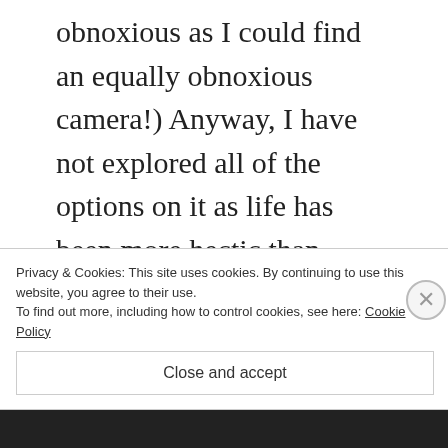obnoxious as I could find an equally obnoxious camera!) Anyway, I have not explored all of the options on it as life has been more hectic than usual, but I really love it. I used Mr. Rebates to qualify for cashback when getting it from J&R, bringing the price down even lower. In December, they had the lowest price. You might look into buying a camera while you are in China
Privacy & Cookies: This site uses cookies. By continuing to use this website, you agree to their use. To find out more, including how to control cookies, see here: Cookie Policy
Close and accept